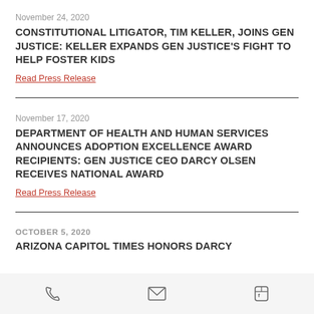November 24, 2020
CONSTITUTIONAL LITIGATOR, TIM KELLER, JOINS GEN JUSTICE: KELLER EXPANDS GEN JUSTICE'S FIGHT TO HELP FOSTER KIDS
Read Press Release
November 17, 2020
DEPARTMENT OF HEALTH AND HUMAN SERVICES ANNOUNCES ADOPTION EXCELLENCE AWARD RECIPIENTS: GEN JUSTICE CEO DARCY OLSEN RECEIVES NATIONAL AWARD
Read Press Release
OCTOBER 5, 2020
ARIZONA CAPITOL TIMES HONORS DARCY
Phone | Email | Facebook